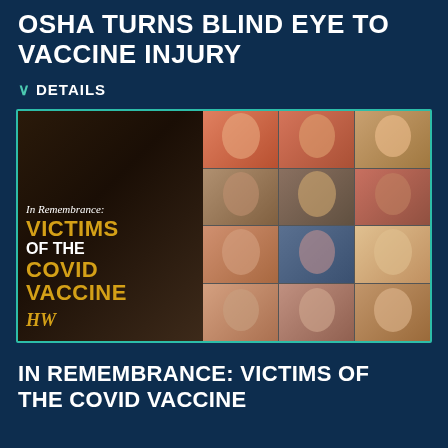OSHA TURNS BLIND EYE TO VACCINE INJURY
∨  DETAILS
[Figure (photo): In Remembrance: Victims of the Covid Vaccine — collage image with text overlay on dark background and grid of portrait photos of individuals]
IN REMEMBRANCE: VICTIMS OF THE COVID VACCINE